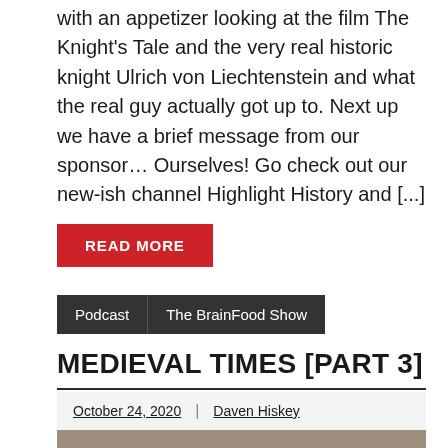with an appetizer looking at the film The Knight's Tale and the very real historic knight Ulrich von Liechtenstein and what the real guy actually got up to. Next up we have a brief message from our sponsor… Ourselves! Go check out our new-ish channel Highlight History and [...]
READ MORE
Podcast   The BrainFood Show
MEDIEVAL TIMES [PART 3]
October 24, 2020  |  Daven Hiskey
[Figure (photo): A bronze statue of a medieval figure against a brick wall background]